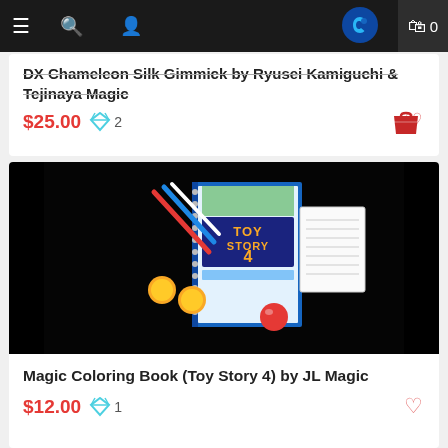Navigation bar with menu, search, and user icons; logo; cart (0)
DX Chameleon Silk Gimmick by Ryusei Kamiguchi & Tejinaya Magic
$25.00  ♦ 2
[Figure (photo): Product image: Magic Coloring Book (Toy Story 4) with magic props on black background]
Magic Coloring Book (Toy Story 4) by JL Magic
$12.00  ♦ 1